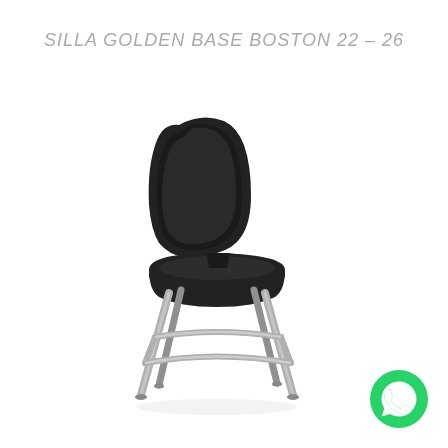SILLA GOLDEN BASE BOSTON 22 – 26
[Figure (photo): A black upholstered bar stool / chair with a curved backrest and padded seat, mounted on four chrome legs with a rectangular chrome footrest ring at the base. The chair is shown on a white background at a slight angle.]
[Figure (logo): WhatsApp green circular icon with white phone handset symbol]